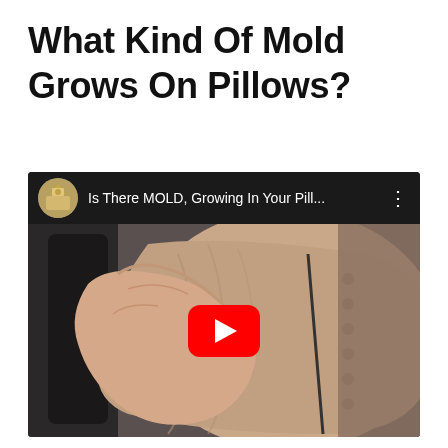What Kind Of Mold Grows On Pillows?
[Figure (screenshot): Embedded YouTube video thumbnail showing a hand holding/examining a pillow, with YouTube play button overlay. Video title: 'Is There MOLD, Growing In Your Pill...']